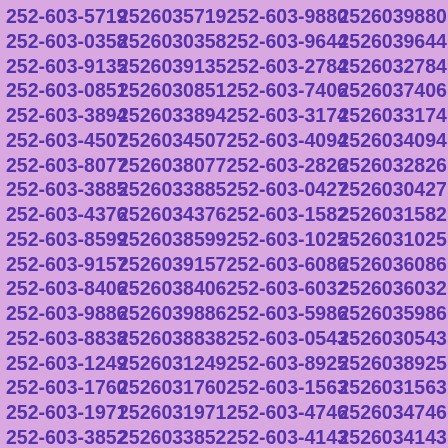252-603-5719 2526035719 252-603-9880 2526039880 252-603-0358 2526030358 252-603-9644 2526039644 252-603-9135 2526039135 252-603-2784 2526032784 252-603-0851 2526030851 252-603-7406 2526037406 252-603-3894 2526033894 252-603-3174 2526033174 252-603-4507 2526034507 252-603-4094 2526034094 252-603-8077 2526038077 252-603-2826 2526032826 252-603-3885 2526033885 252-603-0427 2526030427 252-603-4376 2526034376 252-603-1582 2526031582 252-603-8599 2526038599 252-603-1025 2526031025 252-603-9157 2526039157 252-603-6086 2526036086 252-603-8406 2526038406 252-603-6032 2526036032 252-603-9886 2526039886 252-603-5986 2526035986 252-603-8838 2526038838 252-603-0543 2526030543 252-603-1249 2526031249 252-603-8925 2526038925 252-603-1760 2526031760 252-603-1563 2526031563 252-603-1971 2526031971 252-603-4746 2526034746 252-603-3852 2526033852 252-603-4143 2526034143 252-603-4173 2526034173 252-603-8024 2526038024 252-603-6971 2526036971 252-603-5065 2526035065 252-603-9621 2526039621 252-603-6644 2526036644